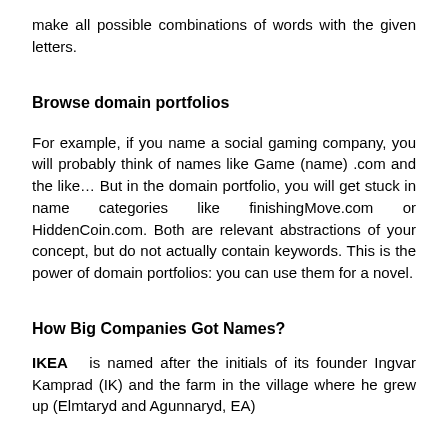make all possible combinations of words with the given letters.
Browse domain portfolios
For example, if you name a social gaming company, you will probably think of names like Game (name) .com and the like… But in the domain portfolio, you will get stuck in name categories like finishingMove.com or HiddenCoin.com. Both are relevant abstractions of your concept, but do not actually contain keywords. This is the power of domain portfolios: you can use them for a novel.
How Big Companies Got Names?
IKEA  is named after the initials of its founder Ingvar Kamprad (IK) and the farm in the village where he grew up (Elmtaryd and Agunnaryd, EA)